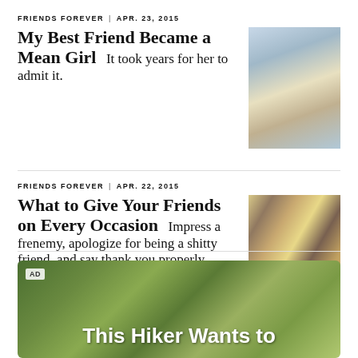FRIENDS FOREVER | APR. 23, 2015
My Best Friend Became a Mean Girl
It took years for her to admit it.
[Figure (photo): Photo of a young woman with blonde curly hair lying down, wearing a striped top]
FRIENDS FOREVER | APR. 22, 2015
What to Give Your Friends on Every Occasion
Impress a frenemy, apologize for being a shitty friend, and say thank you properly.
[Figure (photo): Flat lay photo of various gift items including a watch, bottle of wine, clothing, and accessories]
[Figure (photo): Advertisement image showing a hiker in a forest with text 'This Hiker Wants to...' and AD label]